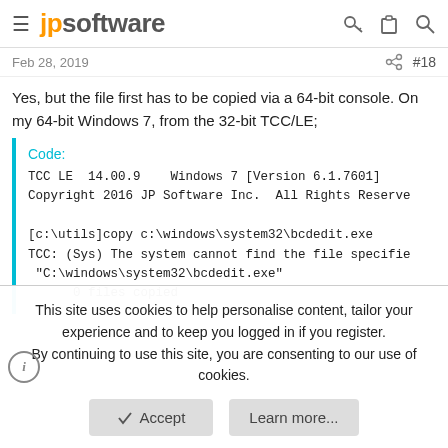jpsoftware
Feb 28, 2019  #18
Yes, but the file first has to be copied via a 64-bit console. On my 64-bit Windows 7, from the 32-bit TCC/LE;
Code:
TCC LE  14.00.9    Windows 7 [Version 6.1.7601]
Copyright 2016 JP Software Inc.  All Rights Reserve

[c:\utils]copy c:\windows\system32\bcdedit.exe
TCC: (Sys) The system cannot find the file specifie
 "C:\windows\system32\bcdedit.exe"
      0 files copied
This site uses cookies to help personalise content, tailor your experience and to keep you logged in if you register.
By continuing to use this site, you are consenting to our use of cookies.